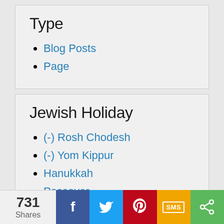Type
Blog Posts
Page
Jewish Holiday
(-) Rosh Chodesh
(-) Yom Kippur
Hanukkah
Passover
731 Shares | Facebook | Twitter | Pinterest | SMS | Share